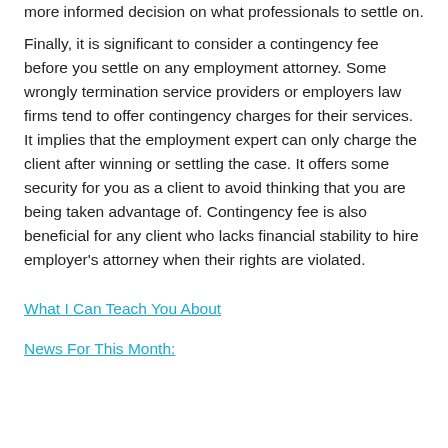more informed decision on what professionals to settle on.
Finally, it is significant to consider a contingency fee before you settle on any employment attorney. Some wrongly termination service providers or employers law firms tend to offer contingency charges for their services. It implies that the employment expert can only charge the client after winning or settling the case. It offers some security for you as a client to avoid thinking that you are being taken advantage of. Contingency fee is also beneficial for any client who lacks financial stability to hire employer's attorney when their rights are violated.
What I Can Teach You About
News For This Month: